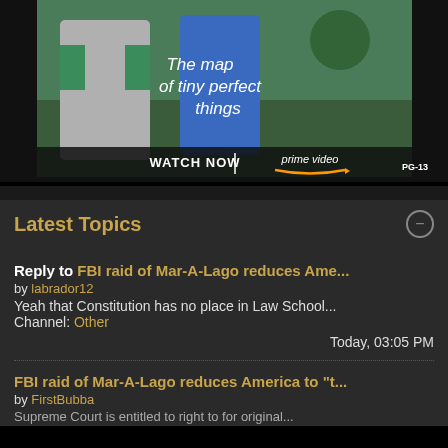[Figure (screenshot): Amazon Prime Video advertisement for 'The Map of Tiny Perfect Things'. Shows two people standing together with text 'The map of tiny perfect things', 'WATCH NOW | prime video' and 'PG-13' rating.]
Latest Topics
Reply to FBI raid of Mar-A-Lago reduces Ame... by labrador12 Yeah that Constitution has no place in Law School... Channel: Other Today, 03:05 PM
FBI raid of Mar-A-Lago reduces America to "t... by FirstBubba